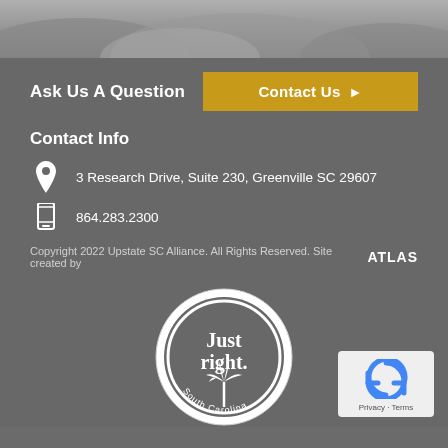[Figure (photo): Grayscale mountain/landscape photo at the top of the page]
Ask Us A Question
Contact Us ▶
Contact Info
3 Research Drive, Suite 230, Greenville SC 29607
864.283.2300
Copyright 2022 Upstate SC Alliance. All Rights Reserved. Site created by ATLAS
[Figure (logo): Just right. South Carolina circular logo with palmetto tree and crescent moon]
[Figure (other): reCAPTCHA widget with Privacy and Terms links]